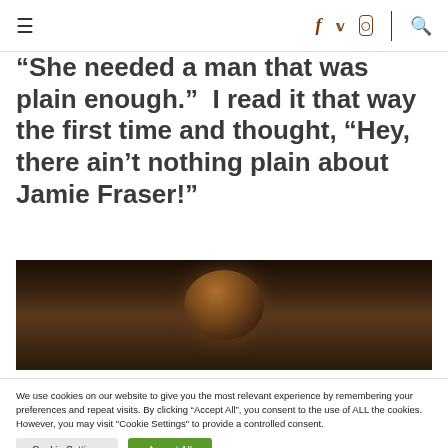≡  f  🐦  📷  🔍
“She needed a man that was plain enough.”  I read it that way the first time and thought, “Hey, there ain’t nothing plain about Jamie Fraser!”
[Figure (photo): Dark photograph showing curly reddish-brown hair of a person, dimly lit against a dark background]
We use cookies on our website to give you the most relevant experience by remembering your preferences and repeat visits. By clicking “Accept All”, you consent to the use of ALL the cookies. However, you may visit "Cookie Settings" to provide a controlled consent.